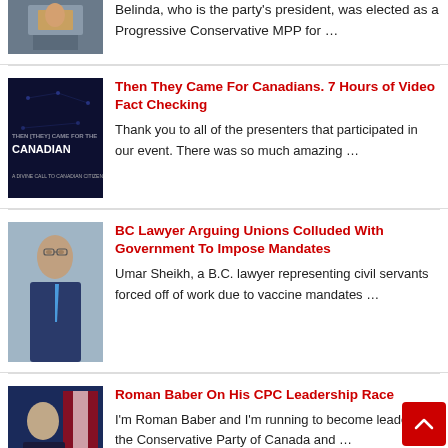Belinda, who is the party's president, was elected as a Progressive Conservative MPP for …
[Figure (photo): Photo of a person at a podium, partially visible at top]
Then They Came For Canadians. 7 Hours of Video Fact Checking
[Figure (photo): Dark book/poster cover with text 'THEN THEY CAME FOR THE CANADIANS – A DIVINE CALL TO CANADIAN CITIZENS']
Thank you to all of the presenters that participated in our event. There was so much amazing …
BC Lawyer Arguing Unions Colluded With Government To Impose Mandates
[Figure (photo): Photo of Umar Sheikh, a man in a suit with glasses]
Umar Sheikh, a B.C. lawyer representing civil servants forced off of work due to vaccine mandates …
Roman Baber On His CPC Leadership Race
[Figure (photo): Photo of Roman Baber speaking at a podium with Roman Baber campaign branding]
I'm Roman Baber and I'm running to become leader of the Conservative Party of Canada and …